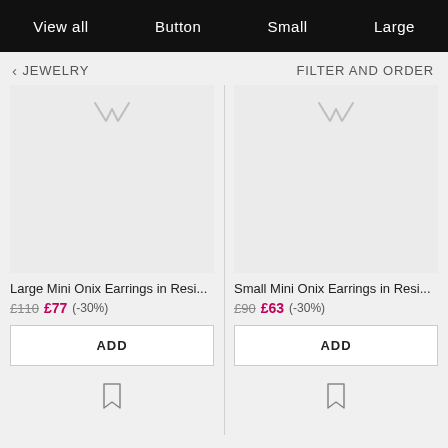View all  Button  Small  Large
< JEWELRY   FILTER AND ORDER
[Figure (screenshot): Product listing page for jewelry showing two earring products: Large Mini Onix Earrings in Resi... priced at £110 sale £77 (-30%) and Small Mini Onix Earrings in Resi... priced at £90 sale £63 (-30%), each with an ADD button.]
Large Mini Onix Earrings in Resi...
£110 £77 (-30%)
Small Mini Onix Earrings in Resi...
£90 £63 (-30%)